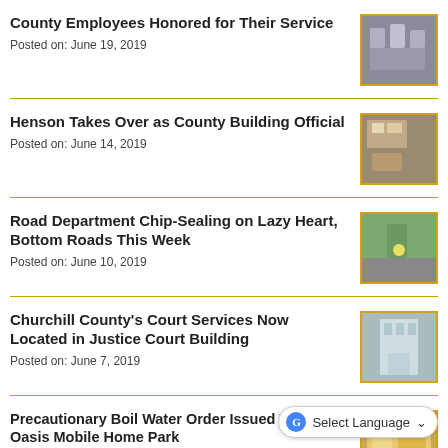County Employees Honored for Their Service
Posted on: June 19, 2019
[Figure (photo): Group photo of county employees being honored]
Henson Takes Over as County Building Official
Posted on: June 14, 2019
[Figure (photo): Person at a desk in an office]
Road Department Chip-Sealing on Lazy Heart, Bottom Roads This Week
Posted on: June 10, 2019
[Figure (photo): Road department workers on a road]
Churchill County's Court Services Now Located in Justice Court Building
Posted on: June 7, 2019
[Figure (photo): Exterior of the Justice Court Building]
Precautionary Boil Water Order Issued Today for Oasis Mobile Home Park
Posted on: June 6, 2019
[Figure (photo): Close-up photo related to water]